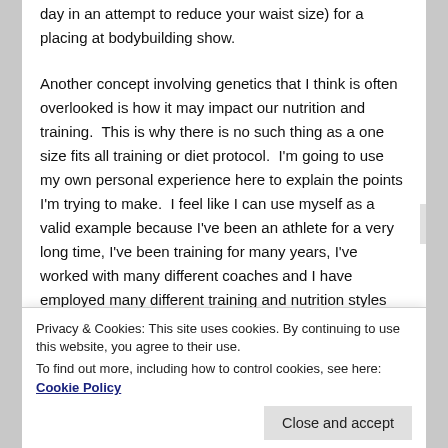day in an attempt to reduce your waist size) for a placing at bodybuilding show.
Another concept involving genetics that I think is often overlooked is how it may impact our nutrition and training.  This is why there is no such thing as a one size fits all training or diet protocol.  I'm going to use my own personal experience here to explain the points I'm trying to make.  I feel like I can use myself as a valid example because I've been an athlete for a very long time, I've been training for many years, I've worked with many different coaches and I have employed many different training and nutrition styles over the years.  In doing so, I've really learned exactly how my body will respond to certain things—in essence, I've learned my
Privacy & Cookies: This site uses cookies. By continuing to use this website, you agree to their use.
To find out more, including how to control cookies, see here: Cookie Policy
Close and accept